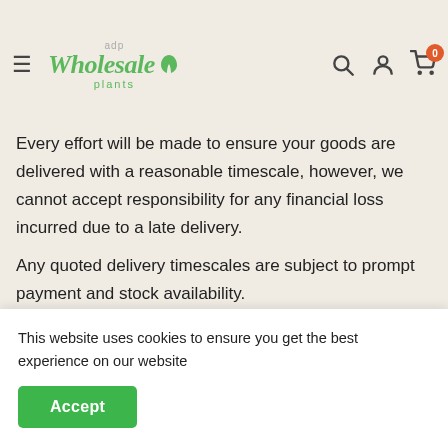adp Wholesale plants — navigation header with search, account, and cart icons
Every effort will be made to ensure your goods are delivered with a reasonable timescale, however, we cannot accept responsibility for any financial loss incurred due to a late delivery.
Any quoted delivery timescales are subject to prompt payment and stock availability.
Collection
If you are collecting your order from Us, collection must be made within 3 working days of the agreed collection
This website uses cookies to ensure you get the best experience on our website
All Goods delivered or collected remain the Property of